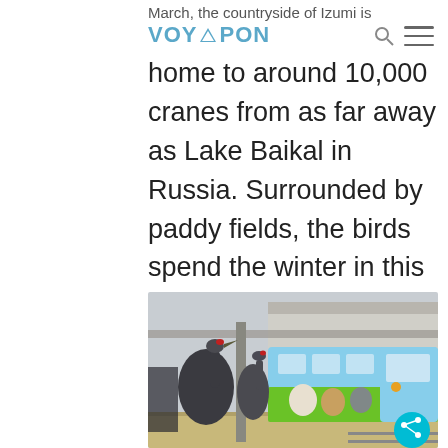VOYAPON
March, the countryside of Izumi is home to around 10,000 cranes from as far away as Lake Baikal in Russia. Surrounded by paddy fields, the birds spend the winter in this spot where you can visit and observe them.
[Figure (photo): Two cranes standing on a train platform in Japan, with a colorful animal-wrapped train (light blue and green with animal illustrations) visible in the background at a station.]